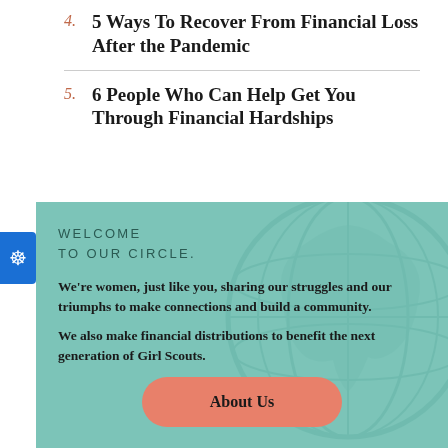4. 5 Ways To Recover From Financial Loss After the Pandemic
5. 6 People Who Can Help Get You Through Financial Hardships
[Figure (infographic): Teal promotional panel with globe watermark. Heading: WELCOME TO OUR CIRCLE. Body text: We're women, just like you, sharing our struggles and our triumphs to make connections and build a community. We also make financial distributions to benefit the next generation of Girl Scouts. Button: About Us]
We're women, just like you, sharing our struggles and our triumphs to make connections and build a community.
We also make financial distributions to benefit the next generation of Girl Scouts.